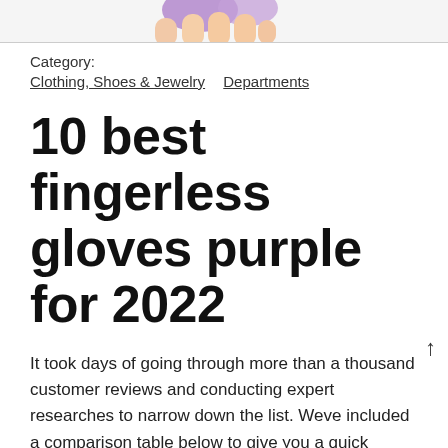[Figure (photo): Partial photo of hands wearing purple fingerless gloves, cropped at top of page]
Category:
Clothing, Shoes & Jewelry   Departments
10 best fingerless gloves purple for 2022
It took days of going through more than a thousand customer reviews and conducting expert researches to narrow down the list. Weve included a comparison table below to give you a quick summary of our top 10 fingerless gloves purple, followed by aringer in the reviews for each